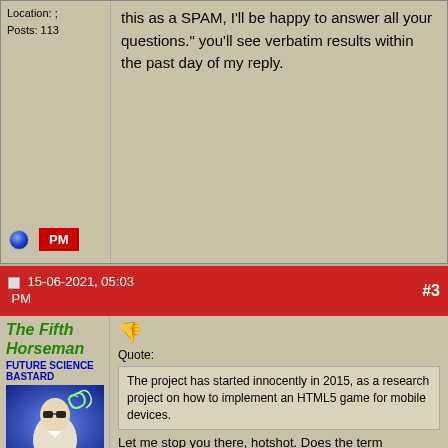Location: ;
Posts: 113
this as a SPAM, I'll be happy to answer all your questions." you'll see verbatim results within the past day of my reply.
15-06-2021, 05:03 PM   #3
The Fifth Horseman
FUTURE SCIENCE BASTARD
[Figure (illustration): Forum user avatar showing a stylized man with sunglasses and glowing spiral effects]
Join Date: Oct 2004
Location: Opole, Poland
Posts: 14,276
Quote:
The project has started innocently in 2015, as a research project on how to implement an HTML5 game for mobile devices.
Let me stop you there, hotshot. Does the term "progressive web app" ring any bells?
If not, research it, it's a thing already.
Quote:
THAT'S IT!
It was a blast, THAT'S IT, the future of Game Development. **GAMES WITHOUT INSTALLATION**.